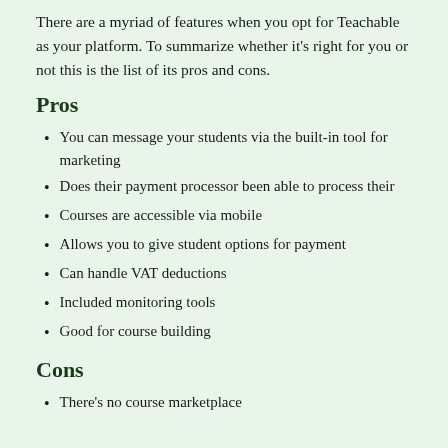There are a myriad of features when you opt for Teachable as your platform. To summarize whether it's right for you or not this is the list of its pros and cons.
Pros
You can message your students via the built-in tool for marketing
Does their payment processor been able to process their
Courses are accessible via mobile
Allows you to give student options for payment
Can handle VAT deductions
Included monitoring tools
Good for course building
Cons
There's no course marketplace